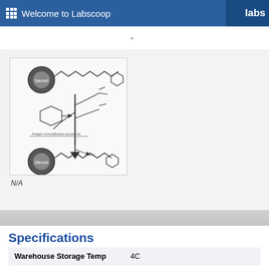Welcome to Labscoop   labs
[Figure (schematic): Chemical schematic diagram showing steroid immobilization on beads — two circular bead structures at top and bottom connected by a vertical line with branching molecular structures and arrows indicating reaction pathway.]
N/A
Specifications
| Warehouse Storage Temp | 4C |
| Description | For the immobilization of steroid |